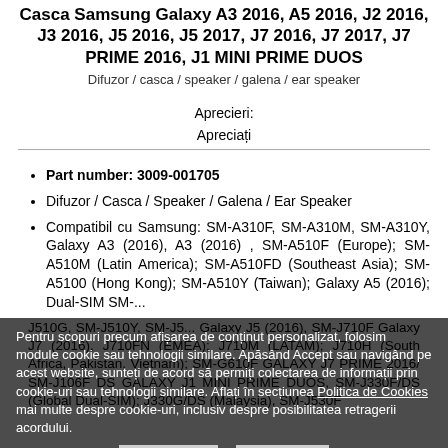Casca Samsung Galaxy A3 2016, A5 2016, J2 2016, J3 2016, J5 2016, J5 2017, J7 2016, J7 2017, J7 PRIME 2016, J1 MINI PRIME DUOS
Difuzor / casca / speaker / galena / ear speaker
Aprecieri:
Apreciați
Part number: 3009-001705
Difuzor / Casca / Speaker / Galena / Ear Speaker
Compatibil cu Samsung: SM-A310F, SM-A310M, SM-A310Y, Galaxy A3 (2016), A3 (2016) , SM-A510F (Europe); SM-A510M (Latin America); SM-A510FD (Southeast Asia); SM-A5100 (Hong Kong); SM-A510Y (Taiwan); Galaxy A5 (2016); Dual-SIM SM-... J510G, SM-J510Y, SM-J5... Galaxy J5 (2016), SM-J710F Galaxy J7 (2016), J710FN (EMEA); J710M (LATAM); J710H (South Africa, Pakistan, Vietnam); SM-G610F GALAXY J7 PRIME 2016/ SM-J106F DS GALAXY J1 MINI PRIME DUOS, SM-J330F/DS (Global Dual-SIM); J330G/DS (Malaysia), SM-J530F
Pentru scopuri precum afișarea de conținut personalizat, folosim module cookie sau tehnologii similare. Apăsând Accept sau navigând pe acest website, sunteți de acord să permiți colectarea de informații prin cookie-uri sau tehnologii similare. Aflați în secțiunea Politica de Cookies mai multe despre cookie-uri, inclusiv despre posibilitatea retragerii acordului.